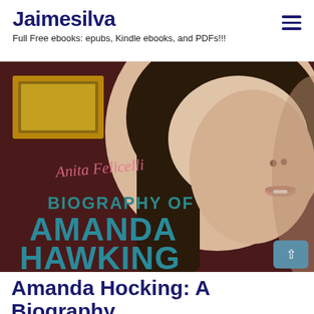Jaimesilva
Full Free ebooks: epubs, Kindle ebooks, and PDFs!!!
[Figure (illustration): Book cover for 'Biography of Amanda Hawking' by Anita Felicelli, showing a close-up illustrated face of a woman with dark hair. The title 'BIOGRAPHY OF AMANDA HAWKING' is displayed in large teal letters over the image.]
Amanda Hocking: A Biography